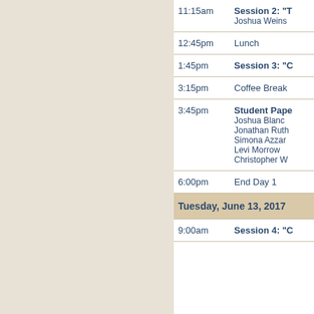| Time | Event |
| --- | --- |
| 11:15am | Session 2: "T...
Joshua Weins... |
| 12:45pm | Lunch |
| 1:45pm | Session 3: "C... |
| 3:15pm | Coffee Break |
| 3:45pm | Student Pape...
Joshua Blanc...
Jonathan Ruth...
Simona Azzar...
Levi Morrow
Christopher W... |
| 6:00pm | End Day 1 |
| Tuesday, June 13, 2017 |  |
| 9:00am | Session 4: "C... |